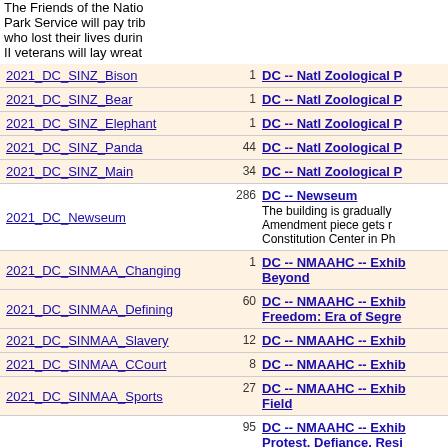The Friends of the National Park Service will pay tribute to who lost their lives during II veterans will lay wreath
| Link | Count | Title/Description |
| --- | --- | --- |
| 2021_DC_SINZ_Bison | 1 | DC -- Natl Zoological P |
| 2021_DC_SINZ_Bear | 1 | DC -- Natl Zoological P |
| 2021_DC_SINZ_Elephant | 1 | DC -- Natl Zoological P |
| 2021_DC_SINZ_Panda | 44 | DC -- Natl Zoological P |
| 2021_DC_SINZ_Main | 34 | DC -- Natl Zoological P |
| 2021_DC_Newseum | 286 | DC -- Newseum / The building is gradually Amendment piece gets r Constitution Center in Ph |
| 2021_DC_SINMAA_Changing | 1 | DC -- NMAAHC -- Exhib Beyond |
| 2021_DC_SINMAA_Defining | 60 | DC -- NMAAHC -- Exhib Freedom: Era of Segre |
| 2021_DC_SINMAA_Slavery | 12 | DC -- NMAAHC -- Exhib |
| 2021_DC_SINMAA_CCourt | 8 | DC -- NMAAHC -- Exhib |
| 2021_DC_SINMAA_Sports | 27 | DC -- NMAAHC -- Exhib Field |
| 2021_DC_SINMAA_Reckoning | 95 | DC -- NMAAHC -- Exhib Protest. Defiance. Resi / Reckoning: Protest. Defi September 10, 2021 – C Located in the museum's space, the exhibition expr |